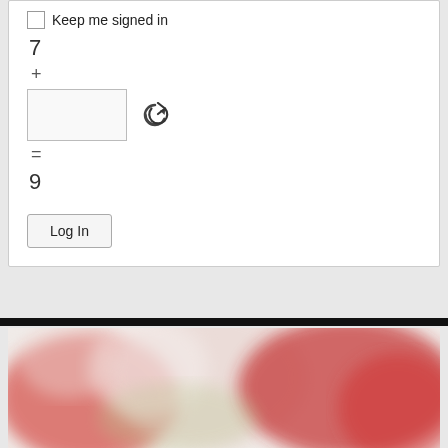Keep me signed in
7
+
[Figure (screenshot): A text input box (captcha answer field) with a refresh/reload icon to the right]
=
9
Log In
[Figure (photo): Blurred close-up photo of red and pink flowers/roses]